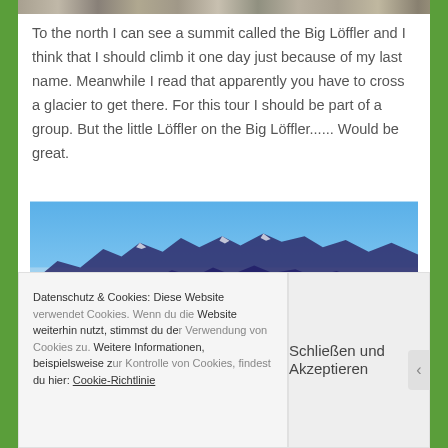[Figure (photo): Top strip showing partial mountain/rocky landscape photos]
To the north I can see a summit called the Big Löffler and I think that I should climb it one day just because of my last name. Meanwhile I read that apparently you have to cross a glacier to get there. For this tour I should be part of a group. But the little Löffler on the Big Löffler...... Would be great.
[Figure (photo): Mountain panorama with blue sky and dark mountain silhouettes in the foreground]
Datenschutz & Cookies: Diese Website verwendet Cookies. Wenn du die Website weiterhin nutzt, stimmst du der Verwendung von Cookies zu. Weitere Informationen, beispielsweise zur Kontrolle von Cookies, findest du hier: Cookie-Richtlinie
Schließen und Akzeptieren